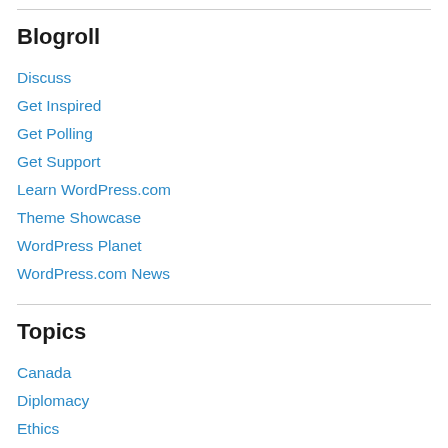Blogroll
Discuss
Get Inspired
Get Polling
Get Support
Learn WordPress.com
Theme Showcase
WordPress Planet
WordPress.com News
Topics
Canada
Diplomacy
Ethics
Film Review